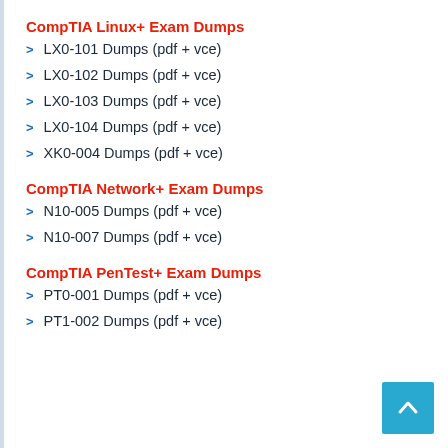CompTIA Linux+ Exam Dumps
LX0-101 Dumps (pdf + vce)
LX0-102 Dumps (pdf + vce)
LX0-103 Dumps (pdf + vce)
LX0-104 Dumps (pdf + vce)
XK0-004 Dumps (pdf + vce)
CompTIA Network+ Exam Dumps
N10-005 Dumps (pdf + vce)
N10-007 Dumps (pdf + vce)
CompTIA PenTest+ Exam Dumps
PT0-001 Dumps (pdf + vce)
PT1-002 Dumps (pdf + vce)